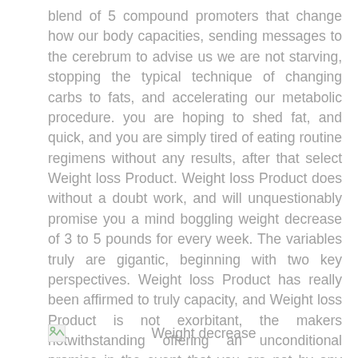blend of 5 compound promoters that change how our body capacities, sending messages to the cerebrum to advise us we are not starving, stopping the typical technique of changing carbs to fats, and accelerating our metabolic procedure. you are hoping to shed fat, and quick, and you are simply tired of eating routine regimens without any results, after that select Weight loss Product. Weight loss Product does without a doubt work, and will unquestionably promise you a mind boggling weight decrease of 3 to 5 pounds for every week. The variables truly are gigantic, beginning with two key perspectives. Weight loss Product has really been affirmed to truly capacity, and Weight loss Product is not exorbitant, the makers notwithstanding offering an unconditional promise in the event that you are not by any means satisfied with the thing.
[Figure (illustration): Broken image placeholder icon (small image with torn corner icon)]
Weight decrease